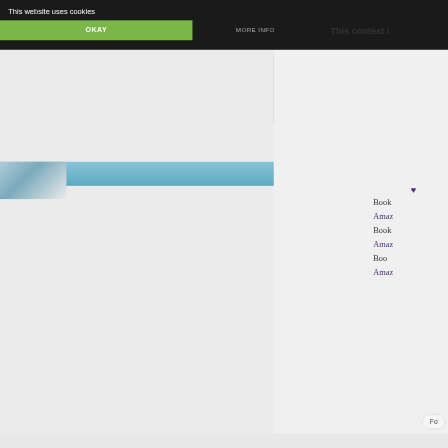This website uses cookies
OKAY
MORE INFO
This contest i
[Figure (screenshot): Cookie consent banner overlay on a website. Dark background bar at top with 'This website uses cookies' text, green OKAY button and grey MORE INFO button. Below is a partially visible webpage with a light grey main content area, a form box on the right with a purple border, a list of partially visible links (Book..., Amaz..., Book..., Amaz..., Boo..., Amaz...) in purple and dark text, a heart symbol, and a Follow button. Bottom shows a teal/blue bar.]
Book...
Amaz...
Book...
Amaz...
Boo...
Amaz...
Fo...